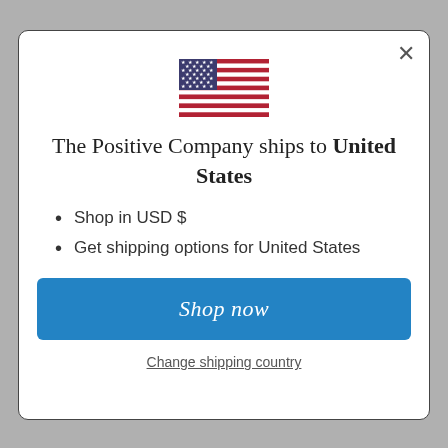[Figure (illustration): US flag icon centered at top of modal]
The Positive Company ships to United States
Shop in USD $
Get shipping options for United States
Shop now
Change shipping country